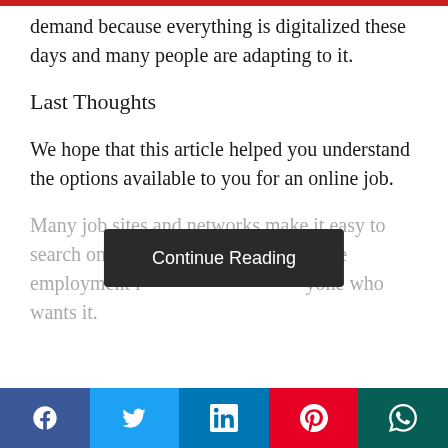demand because everything is digitalized these days and many people are adapting to it.
Last Thoughts
We hope that this article helped you understand the options available to you for an online job.
Many job sites and networks make it easy to search online for opportunities. Remote employment i… yone who wants it.
[Figure (screenshot): Continue Reading button overlay on faded text]
[Figure (infographic): Social share bar with Facebook, Twitter, LinkedIn, Pinterest, and WhatsApp buttons]